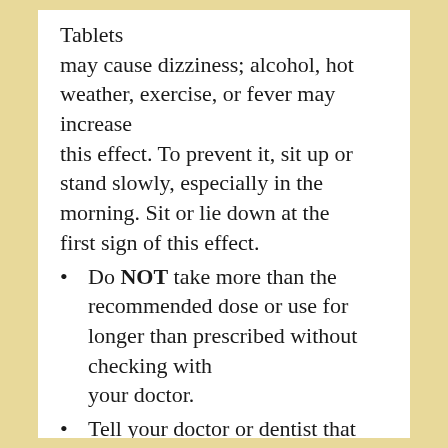Tablets may cause dizziness; alcohol, hot weather, exercise, or fever may increase this effect. To prevent it, sit up or stand slowly, especially in the morning. Sit or lie down at the first sign of this effect.
Do NOT take more than the recommended dose or use for longer than prescribed without checking with your doctor.
Tell your doctor or dentist that you take Tramadol Extended-Release Tablets before you